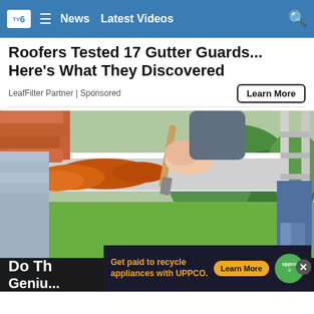TV6 | News | Latest Videos
Roofers Tested 17 Gutter Guards... Here's What They Discovered
LeafFilter Partner | Sponsored
[Figure (photo): Person on ladder cleaning or painting a gutter with a paintbrush, wearing a grey sweater, with orange rust/residue visible in the white gutter trough. Green trees visible in background.]
Do Th... Geniu...
Get paid to recycle appliances with UPPCO.